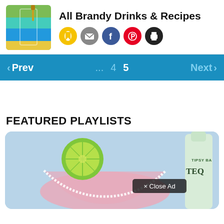All Brandy Drinks & Recipes
[Figure (photo): Colorful layered cocktail in a glass with a stir stick]
[Figure (infographic): Social sharing icons: yellow bookmark, gray email, blue Facebook, red Pinterest, black print]
< Prev ... 4 5 Next >
FEATURED PLAYLISTS
[Figure (photo): Margarita cocktail with lime garnish and salted rim, bottle of Tipsy Bar Tequila in background, Close Ad button overlay]